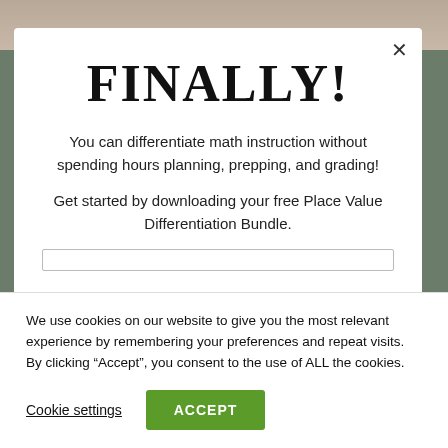[Figure (screenshot): Background image strip at top of page, showing partial photo]
FINALLY!
You can differentiate math instruction without spending hours planning, prepping, and grading!
Get started by downloading your free Place Value Differentiation Bundle.
We use cookies on our website to give you the most relevant experience by remembering your preferences and repeat visits. By clicking “Accept”, you consent to the use of ALL the cookies.
Cookie settings
ACCEPT